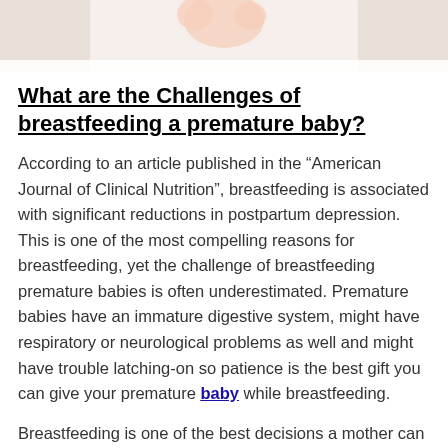[Figure (photo): Partial view of a baby lying on a soft white surface, top portion of page]
What are the Challenges of breastfeeding a premature baby?
According to an article published in the “American Journal of Clinical Nutrition”, breastfeeding is associated with significant reductions in postpartum depression. This is one of the most compelling reasons for breastfeeding, yet the challenge of breastfeeding premature babies is often underestimated. Premature babies have an immature digestive system, might have respiratory or neurological problems as well and might have trouble latching-on so patience is the best gift you can give your premature baby while breastfeeding.
Breastfeeding is one of the best decisions a mother can make for her child because of the many ways it